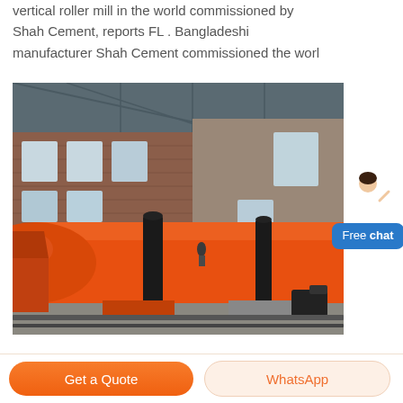vertical roller mill in the world commissioned by Shah Cement, reports FL . Bangladeshi manufacturer Shah Cement commissioned the worl
[Figure (photo): Industrial rotary kiln or large cylindrical mill equipment in orange/red color, installed in a large factory building with brick walls and metal roof structure. The machine is on tracks/rails with support rollers visible.]
Free chat
Get a Quote
WhatsApp